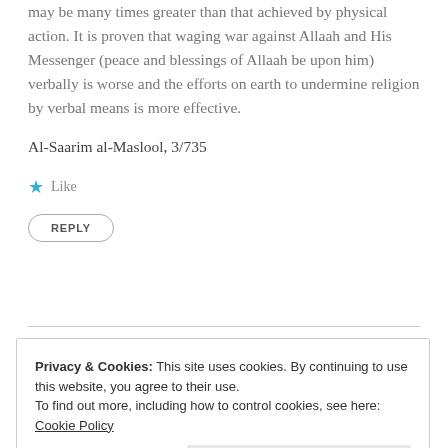may be many times greater than that achieved by physical action. It is proven that waging war against Allaah and His Messenger (peace and blessings of Allaah be upon him) verbally is worse and the efforts on earth to undermine religion by verbal means is more effective.
Al-Saarim al-Maslool, 3/735
Like
REPLY
Privacy & Cookies: This site uses cookies. By continuing to use this website, you agree to their use.
To find out more, including how to control cookies, see here: Cookie Policy
Close and accept